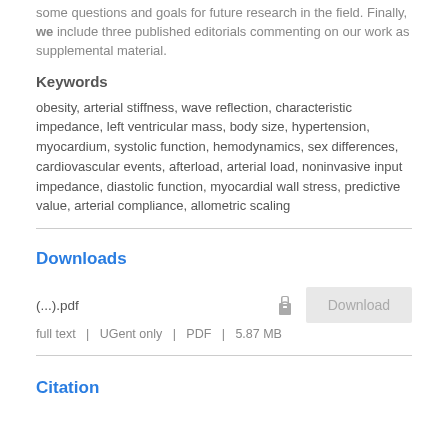some questions and goals for future research in the field. Finally, we include three published editorials commenting on our work as supplemental material.
Keywords
obesity, arterial stiffness, wave reflection, characteristic impedance, left ventricular mass, body size, hypertension, myocardium, systolic function, hemodynamics, sex differences, cardiovascular events, afterload, arterial load, noninvasive input impedance, diastolic function, myocardial wall stress, predictive value, arterial compliance, allometric scaling
Downloads
(...).pdf
full text | UGent only | PDF | 5.87 MB
Citation